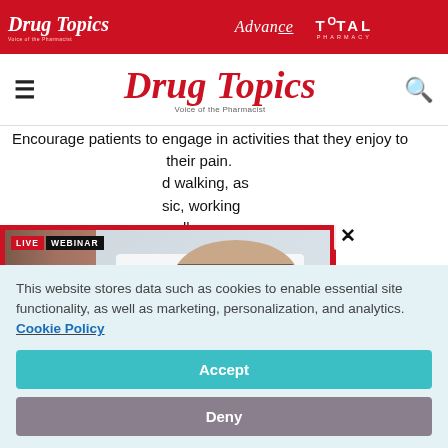Drug Topics | Advance | Total Pharmacy
[Figure (logo): Drug Topics logo navigation bar with hamburger menu and search icon]
Encourage patients to engage in activities that they enjoy to distract their pain. ...d walking, as ...sic, working ...e all
[Figure (photo): Live Webinar popup overlay showing a pharmacist in white coat holding a tablet, standing in front of pharmacy shelves. Red border around the popup. Close (X) button in top right of popup.]
This website stores data such as cookies to enable essential site functionality, as well as marketing, personalization, and analytics. Cookie Policy
Accept
Deny